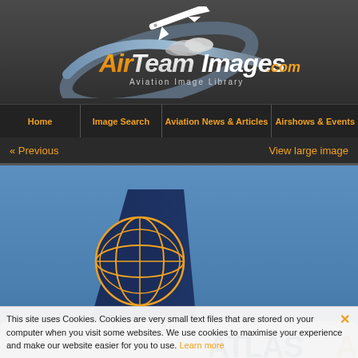[Figure (logo): AirTeamImages.com Aviation Image Library logo with airplane and swoosh graphic on dark gray background]
Home | Image Search | Aviation News & Articles | Airshows & Events
« Previous    View large image
[Figure (photo): Atlas Air aircraft tail showing blue and gold globe livery design against blue sky, with white fuselage showing 'ATLAS AIR' text in blue and gold]
This site uses Cookies. Cookies are very small text files that are stored on your computer when you visit some websites. We use cookies to maximise your experience and make our website easier for you to use. Learn more